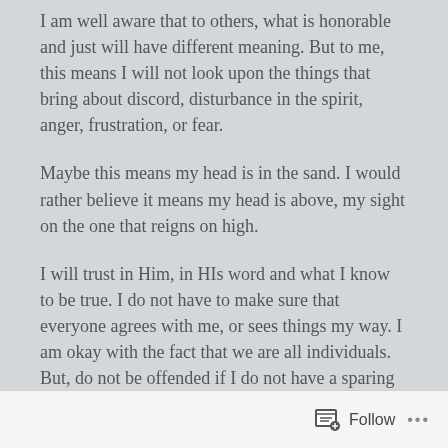I am well aware that to others, what is honorable and just will have different meaning. But to me, this means I will not look upon the things that bring about discord, disturbance in the spirit, anger, frustration, or fear.
Maybe this means my head is in the sand. I would rather believe it means my head is above, my sight on the one that reigns on high.
I will trust in Him, in HIs word and what I know to be true. I do not have to make sure that everyone agrees with me, or sees things my way. I am okay with the fact that we are all individuals. But, do not be offended if I do not have a sparing match over the issues.
Follow ...